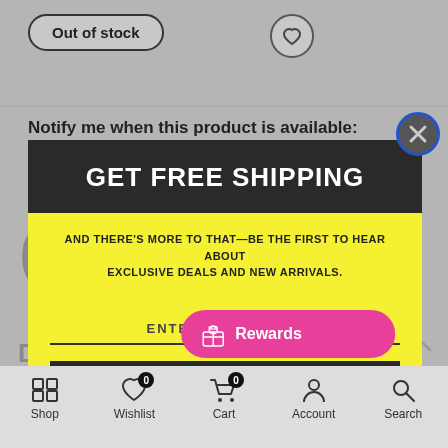[Figure (screenshot): E-commerce product page screenshot showing 'Out of stock' button, heart/wishlist button, and 'Notify me when this product is available' text with email input field, partially obscured by a modal popup overlay]
Notify me when this product is available:
[Figure (screenshot): Modal popup with yellow background. Header bar in dark/black with white bold text 'GET FREE SHIPPING'. Below: 'AND THERE'S MORE TO THAT—BE THE FIRST TO HEAR ABOUT EXCLUSIVE DEALS AND NEW ARRIVALS.' Text input field labeled 'ENTER YOUR EMAIL'. Submit button in dark with white text 'GET FREE SHIPPING'. Powered by omnisend footer. Close button (X) in top-right corner with blue ring.]
Powered by
omnisend
[Figure (screenshot): Bottom navigation bar with Shop, Wishlist (badge 0), Cart (badge 0), Account, Search icons. Pink Rewards button with gift icon.]